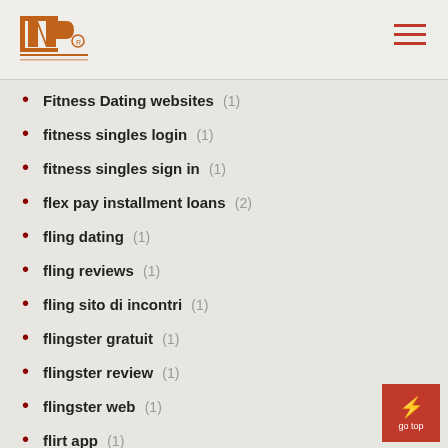INP logo and navigation
Fitness Dating websites (1)
fitness singles login (1)
fitness singles sign in (1)
flex pay installment loans (2)
fling dating (1)
fling reviews (1)
fling sito di incontri (1)
flingster gratuit (1)
flingster review (1)
flingster web (1)
flirt app (1)